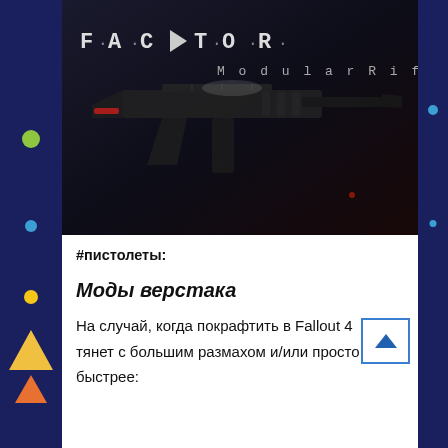[Figure (screenshot): Video thumbnail showing a dark-themed modular rifle (F.A.C.T.O.R. Modular Rifle) with the logo text and 'Modular Rifle' subtitle on a dark background with a rifle silhouette]
#пистолеты:
Моды верстака
На случай, когда покрафтить в Fallout 4 тянет с большим размахом и/или просто быстрее: